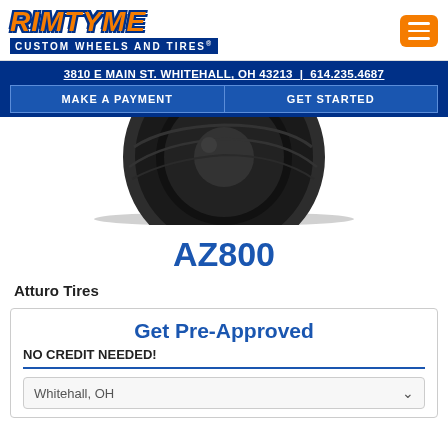RIMTYME CUSTOM WHEELS AND TIRES
3810 E MAIN ST. WHITEHALL, OH 43213 | 614.235.4687
MAKE A PAYMENT | GET STARTED
[Figure (photo): Close-up photo of a tire tread, cropped at top of page]
AZ800
Atturo Tires
Get Pre-Approved
NO CREDIT NEEDED!
Whitehall, OH